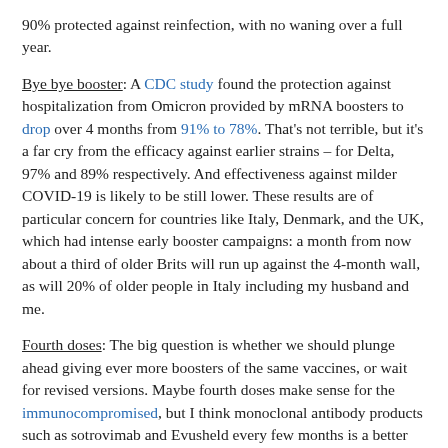90% protected against reinfection, with no waning over a full year.
Bye bye booster: A CDC study found the protection against hospitalization from Omicron provided by mRNA boosters to drop over 4 months from 91% to 78%. That's not terrible, but it's a far cry from the efficacy against earlier strains – for Delta, 97% and 89% respectively. And effectiveness against milder COVID-19 is likely to be still lower. These results are of particular concern for countries like Italy, Denmark, and the UK, which had intense early booster campaigns: a month from now about a third of older Brits will run up against the 4-month wall, as will 20% of older people in Italy including my husband and me.
Fourth doses: The big question is whether we should plunge ahead giving ever more boosters of the same vaccines, or wait for revised versions. Maybe fourth doses make sense for the immunocompromised, but I think monoclonal antibody products such as sotrovimab and Evusheld every few months is a better idea. For the rest of us, Israeli data remain uncertain. Antibodies skyrocket, but protection against symptomatic COVID-19 is at best halved. Dose 4 protects better.